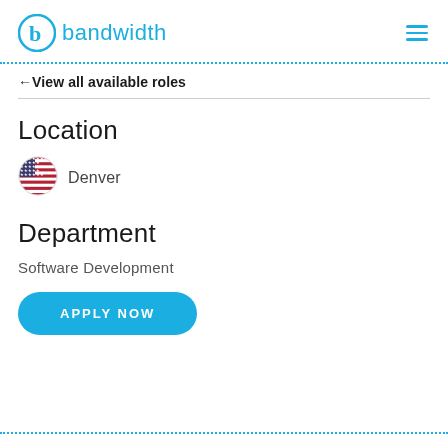[Figure (logo): Bandwidth logo: circular icon with letter 'b' and the word 'bandwidth' in blue]
← View all available roles
Location
[Figure (illustration): US flag circle emoji icon]
Denver
Department
Software Development
APPLY NOW